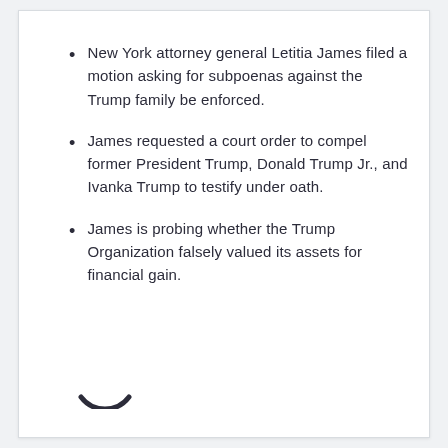New York attorney general Letitia James filed a motion asking for subpoenas against the Trump family be enforced.
James requested a court order to compel former President Trump, Donald Trump Jr., and Ivanka Trump to testify under oath.
James is probing whether the Trump Organization falsely valued its assets for financial gain.
[Figure (other): Loading spinner arc (partial circle) in dark color at bottom-left of page]